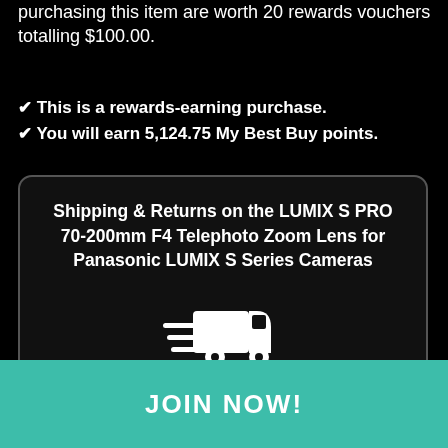purchasing this item are worth 20 rewards vouchers totalling $100.00.
This is a rewards-earning purchase.
You will earn 5,124.75 My Best Buy points.
Shipping & Returns on the LUMIX S PRO 70-200mm F4 Telephoto Zoom Lens for Panasonic LUMIX S Series Cameras
[Figure (illustration): White delivery truck icon with speed lines on dark background]
Shipping & Delivery On Your $1,699.99
At $1,6... or Free Shipping... e for all My Best Buy Members